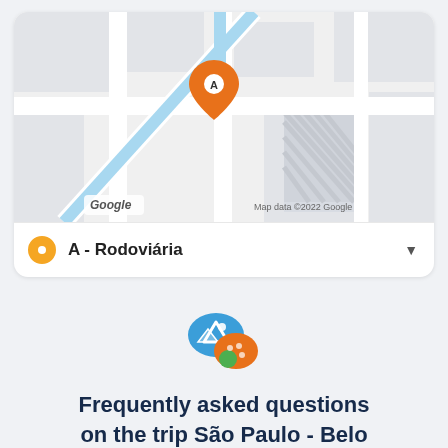[Figure (map): Google Maps view showing a street map with blue highlighted roads and an orange location pin labeled A in the center. Google logo bottom left, 'Map data ©2022 Google' bottom right.]
A - Rodoviária
[Figure (illustration): Two overlapping speech bubble icons — a blue one with a white triangle/mountain symbol and an orange/green one, representing a Q&A or FAQ section.]
Frequently asked questions on the trip São Paulo - Belo Horizonte